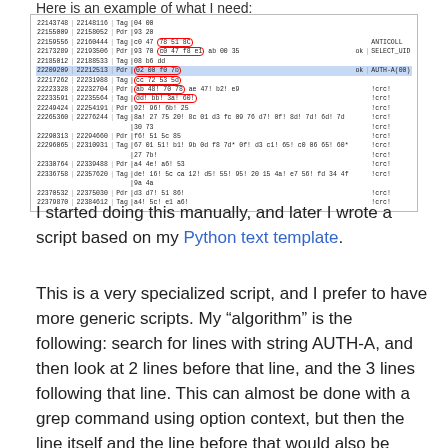Here is an example of what I need:
[Figure (screenshot): Screenshot of a hex/binary log viewer showing rows of memory addresses, tag/pointer data, and hex values. One row is highlighted in blue (22209209 | 22212513 | Pdr |02 00 f0 7b). Several hex sequences are circled in red. Right column shows labels like ANTICOLL, SELECT_UID, AUTH-A(00), !crc!. The blue highlighted row shows ok | AUTH-A(00).]
I started doing this manually, and later I wrote a script based on my Python text template.
This is a very specialized script, and I prefer to have more generic scripts. My “algorithm” is the following: search for lines with string AUTH-A, and then look at 2 lines before that line, and the 3 lines following that line. This can almost be done with a grep command using option context, but then the line itself and the line before that would also be selected, and I don’t need them.